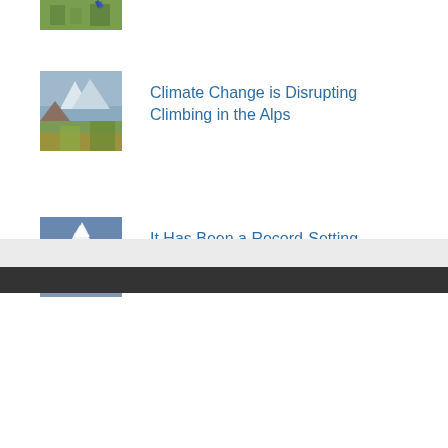[Figure (photo): Partial view of a green meadow/landscape photo, cropped at top of page]
[Figure (photo): Mountain landscape in the Alps with rocky peaks and green slopes]
Climate Change is Disrupting Climbing in the Alps
[Figure (photo): Snow-covered K2 mountain peak against blue sky]
It Has Been a Record-Setting Summer on K2